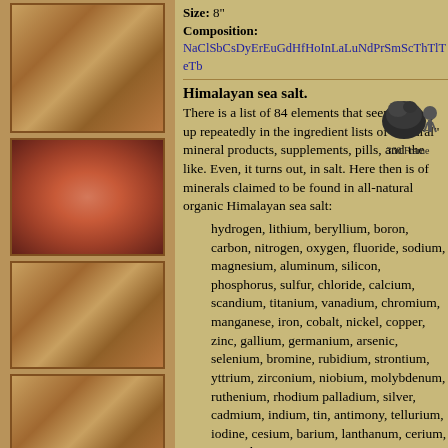Size: 8"
Composition:
NaClSbCsDyErEuGdHfHoInLaLuNdPrSmScThTlTeTb
Himalayan sea salt.
[Figure (illustration): 360 Frame icon showing a dark rocky Himalayan salt crystal and a camera on a tripod, labeled '360 Frame']
There is a list of 84 elements that seems to pop up repeatedly in the ingredient lists of "natural" mineral products, supplements, pills, and the like. Even, it turns out, in salt. Here then is of minerals claimed to be found in all-natural organic Himalayan sea salt:
hydrogen, lithium, beryllium, boron, carbon, nitrogen, oxygen, fluoride, sodium, magnesium, aluminum, silicon, phosphorus, sulfur, chloride, calcium, scandium, titanium, vanadium, chromium, manganese, iron, cobalt, nickel, copper, zinc, gallium, germanium, arsenic, selenium, bromine, rubidium, strontium, yttrium, zirconium, niobium, molybdenum, ruthenium, rhodium palladium, silver, cadmium, indium, tin, antimony, tellurium, iodine, cesium, barium, lanthanum, cerium, praseodymium, samarium, europium, gadolinium, terbium, dysprosium, holmium, erbium, thulium, ytterbium, lutetium, hafnium, tantalum, tungsten,